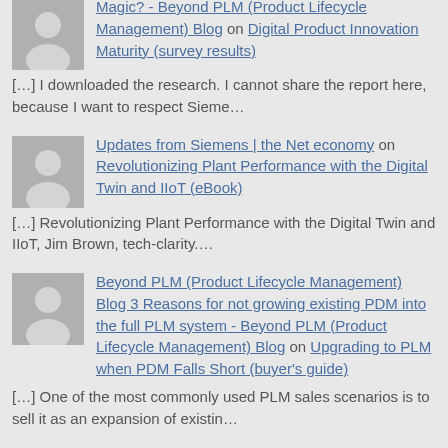Magic? - Beyond PLM (Product Lifecycle Management) Blog on Digital Product Innovation Maturity (survey results)
[…] I downloaded the research. I cannot share the report here, because I want to respect Sieme…
Updates from Siemens | the Net economy on Revolutionizing Plant Performance with the Digital Twin and IIoT (eBook)
[…] Revolutionizing Plant Performance with the Digital Twin and IIoT, Jim Brown, tech-clarity.…
Beyond PLM (Product Lifecycle Management) Blog 3 Reasons for not growing existing PDM into the full PLM system - Beyond PLM (Product Lifecycle Management) Blog on Upgrading to PLM when PDM Falls Short (buyer's guide)
[…] One of the most commonly used PLM sales scenarios is to sell it as an expansion of existin…